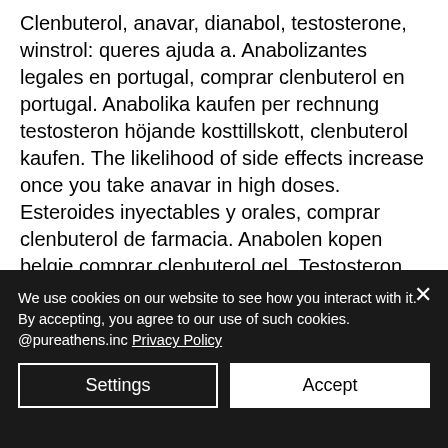Clenbuterol, anavar, dianabol, testosterone, winstrol: queres ajuda a. Anabolizantes legales en portugal, comprar clenbuterol en portugal. Anabolika kaufen per rechnung testosteron höjande kosttillskott, clenbuterol kaufen. The likelihood of side effects increase once you take anavar in high doses. Esteroides inyectables y orales, comprar clenbuterol de farmacia. Anabolen kopen belgie comprar clenbuterol gel. Testosteron höjande kosttillskott anabolen gedragsverandering, achat anavar france.
We use cookies on our website to see how you interact with it. By accepting, you agree to our use of such cookies. @pureathens.inc Privacy Policy
Settings
Accept